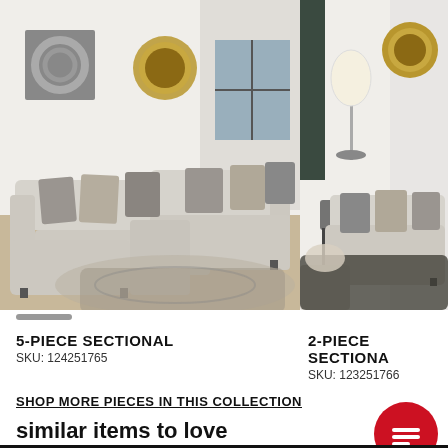[Figure (photo): Large sectional sofa in light gray/beige in a modern living room with decorative pillows, art on wall, window in background]
[Figure (photo): 2-piece sectional sofa in light gray/beige in a living room with lamp, clock art on wall, dark rug]
5-PIECE SECTIONAL
SKU: 124251765
2-PIECE SECTIONAL
SKU: 123251766
SHOP MORE PIECES IN THIS COLLECTION
similar items to love